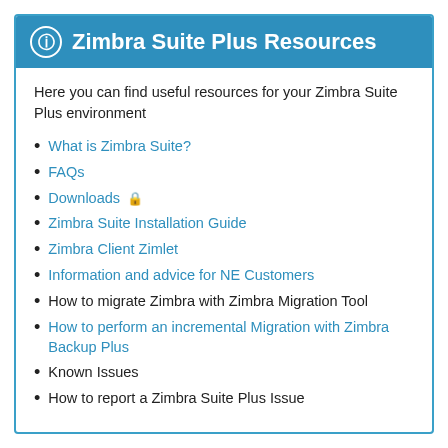ℹ Zimbra Suite Plus Resources
Here you can find useful resources for your Zimbra Suite Plus environment
What is Zimbra Suite?
FAQs
Downloads 🔒
Zimbra Suite Installation Guide
Zimbra Client Zimlet
Information and advice for NE Customers
How to migrate Zimbra with Zimbra Migration Tool
How to perform an incremental Migration with Zimbra Backup Plus
Known Issues
How to report a Zimbra Suite Plus Issue